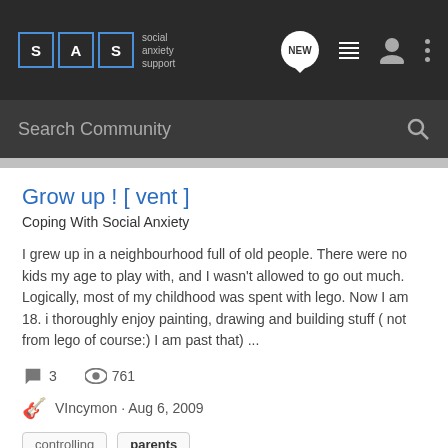SAS social anxiety support — NEW (navigation icons)
Search Community
Grow up ! [ vent ]
Coping With Social Anxiety
I grew up in a neighbourhood full of old people. There were no kids my age to play with, and I wasn't allowed to go out much. Logically, most of my childhood was spent with lego. Now I am 18. i thoroughly enjoy painting, drawing and building stuff ( not from lego of course:) I am past that) ...
3 comments · 761 views
VIncymon · Aug 6, 2009
controlling
parents
Anyone else, deletes this website from their internet